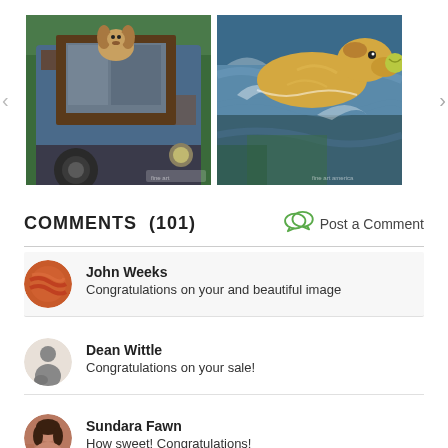[Figure (photo): Two artwork images shown side by side in a gallery carousel. Left: painting of a rusty blue truck with a golden dog peeking out the window. Right: watercolor painting of a golden labrador swimming with a tennis ball in its mouth.]
COMMENTS (101)
Post a Comment
John Weeks
Congratulations on your and beautiful image
Dean Wittle
Congratulations on your sale!
Sundara Fawn
How sweet! Congratulations!